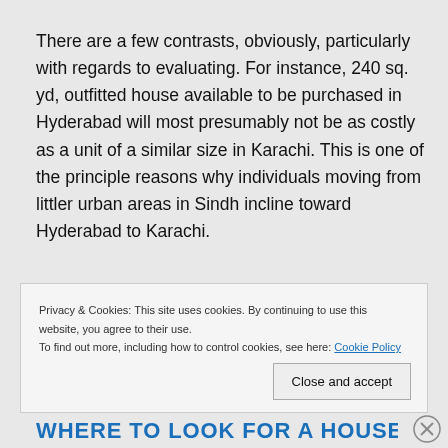There are a few contrasts, obviously, particularly with regards to evaluating. For instance, 240 sq. yd, outfitted house available to be purchased in Hyderabad will most presumably not be as costly as a unit of a similar size in Karachi. This is one of the principle reasons why individuals moving from littler urban areas in Sindh incline toward Hyderabad to Karachi.
Privacy & Cookies: This site uses cookies. By continuing to use this website, you agree to their use.
To find out more, including how to control cookies, see here: Cookie Policy
WHERE TO LOOK FOR A HOUSE FOR